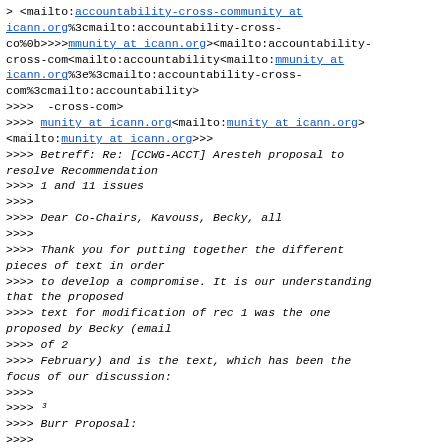> <mailto:accountability-cross-community at icann.org%3cmailto:accountability-cross-co%0b>>>>mmunity at icann.org><mailto:accountability-cross-com<mailto:accountability<mailto:mmunity at icann.org%3e%3cmailto:accountability-cross-com%3cmailto:accountability>
>>>>  -cross-com>
>>>> munity at icann.org<mailto:munity at icann.org> <mailto:munity at icann.org>>>
>>>> Betreff: Re: [CCWG-ACCT] Aresteh proposal to resolve Recommendation
>>>> 1 and 11 issues
>>>>
>>>> Dear Co-Chairs, Kavouss, Becky, all
>>>>
>>>> Thank you for putting together the different pieces of text in order
>>>> to develop a compromise. It is our understanding that the proposed
>>>> text for modification of rec 1 was the one proposed by Becky (email
>>>> of 2
>>>> February) and is the text, which has been the focus of our discussion:
>>>>
>>>> ³
>>>> Burr Proposal:
>>>>
>>>>
>>>> ?          Modify Rec #1/Annex 1:  Add the